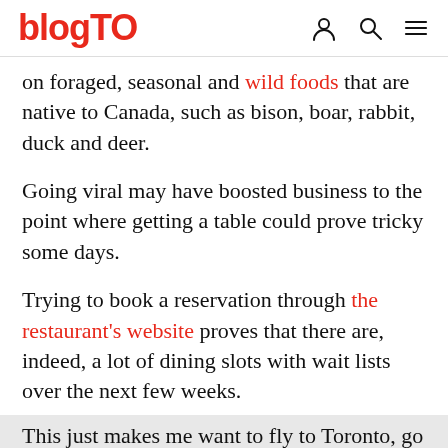blogTO
on foraged, seasonal and wild foods that are native to Canada, such as bison, boar, rabbit, duck and deer.
Going viral may have boosted business to the point where getting a table could prove tricky some days.
Trying to book a reservation through the restaurant's website proves that there are, indeed, a lot of dining slots with wait lists over the next few weeks.
This just makes me want to fly to Toronto, go to Antler, sit in the exact same window seat, and eat venison and drink bourbon. Well played, restaurant co-owner. 🍽🍽🍽🍽🍽 https://t.co/9iimb0Y5XF